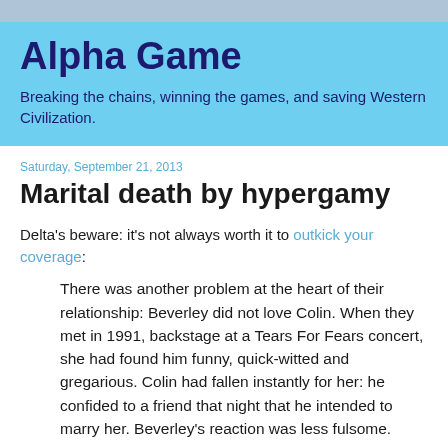Alpha Game
Breaking the chains, winning the games, and saving Western Civilization.
Saturday, September 21, 2013
Marital death by hypergamy
Delta's beware: it's not always worth it to outkick your coverage:
There was another problem at the heart of their relationship: Beverley did not love Colin. When they met in 1991, backstage at a Tears For Fears concert, she had found him funny, quick-witted and gregarious. Colin had fallen instantly for her: he confided to a friend that night that he intended to marry her. Beverley's reaction was less fulsome.